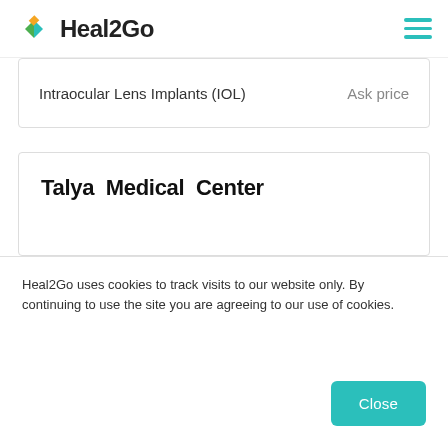Heal2Go
| Service | Price |
| --- | --- |
| Intraocular Lens Implants (IOL) | Ask price |
Talya Medical Center
Heal2Go uses cookies to track visits to our website only. By continuing to use the site you are agreeing to our use of cookies.